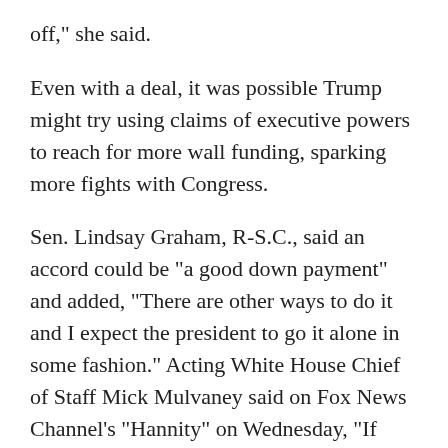off," she said.
Even with a deal, it was possible Trump might try using claims of executive powers to reach for more wall funding, sparking more fights with Congress.
Sen. Lindsay Graham, R-S.C., said an accord could be "a good down payment" and added, "There are other ways to do it and I expect the president to go it alone in some fashion." Acting White House Chief of Staff Mick Mulvaney said on Fox News Channel's "Hannity" on Wednesday, "If Congress won't participate or won't go along, we'll figure out a way to do it with executive authority."
Members of both parties have expressed opposition to Trump bypassing Congress by declaring a national